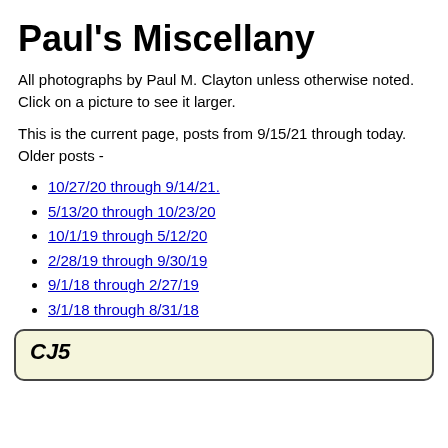Paul's Miscellany
All photographs by Paul M. Clayton unless otherwise noted. Click on a picture to see it larger.
This is the current page, posts from 9/15/21 through today.
Older posts -
10/27/20 through 9/14/21.
5/13/20 through 10/23/20
10/1/19 through 5/12/20
2/28/19 through 9/30/19
9/1/18 through 2/27/19
3/1/18 through 8/31/18
CJ5